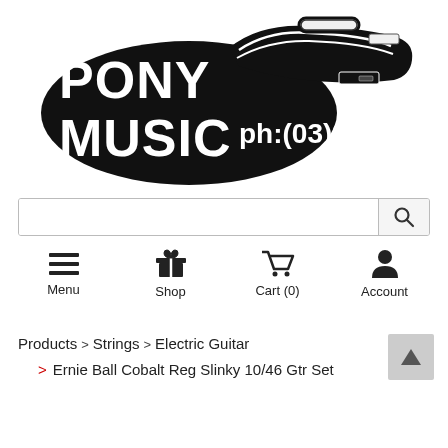[Figure (logo): Pony Music guitar case shaped logo with text PONY MUSIC and ph:(03)9702 3244 in white on black background]
Search input bar with search icon
Menu | Shop | Cart (0) | Account navigation icons
Products > Strings > Electric Guitar > Ernie Ball Cobalt Reg Slinky 10/46 Gtr Set